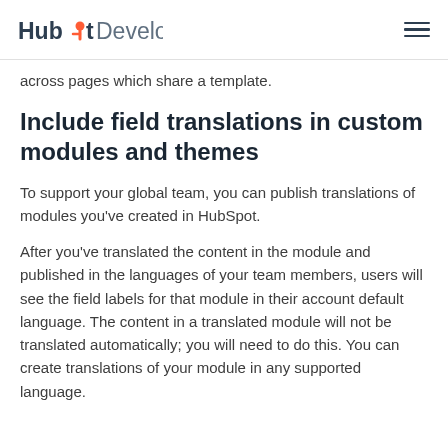HubSpot Developers
across pages which share a template.
Include field translations in custom modules and themes
To support your global team, you can publish translations of modules you've created in HubSpot.
After you've translated the content in the module and published in the languages of your team members, users will see the field labels for that module in their account default language. The content in a translated module will not be translated automatically; you will need to do this. You can create translations of your module in any supported language.